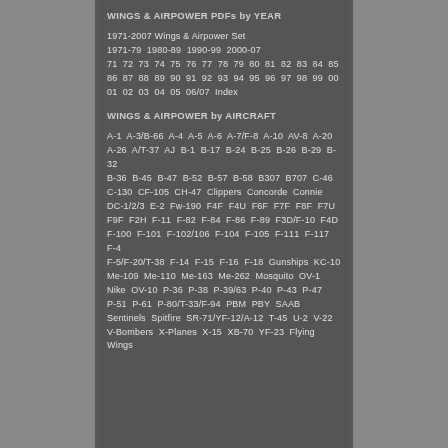WINGS & AIRPOWER PDFs by YEAR
1971-2007 Wings & Airpower Set
1971-79  1980-89  1990-99  2000-07
71  72  73  74  75  76  77  78  79  80  81  82  83  84  85
86  87  88  89  90  91  92  93  94  95  96  97  98  99  00
01  02  03  04  05  06/07  Index
WINGS & AIRPOWER by AIRCRAFT
A-1  A-3/B-66  A-4  A-5  A-6  A-7/F-8  A-10  AV-8  A-20
A-26  A/T-37  AJ  B-1  B-17  B-24  B-25  B-26  B-29  B-32
B-36  B-45  B-47  B-52  B-57  B-58  B307  B707  C-46
C-130  CF-105  CH-47  Clippers  Concorde  Connie
DC-1/2/3  E-2  Fw-190  F4F  F4U  F6F  F7F  F8F  F7U
F9F  F2H  F-11  F-82  F-84  F-86  F-89  F3D/F-10  F4D
F-100  F-101  F-102/106  F-104  F-105  F-111  F-117  F-4
F-5/F-20/T-38  F-14  F-15  F-16  F-18  Gunships  KC-10
Me-109  Me-110  Me-163  Me-262  Mosquito  OV-1
Nike  OV-10  P-36  P-38  P-39/63  P-40  P-43  P-47
P-51  P-61  P-80/T-33/F-94  PBM  PBY  SAAB
Sentinels  Spitfire  SR-71/YF-12/A-12  T-45  U-2  V-22
V-Bombers  X-Planes  X-15  XB-70  YF-23  Flying Wings